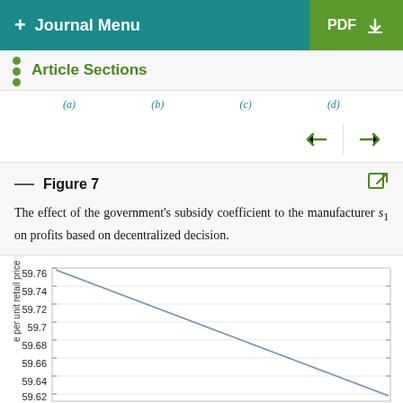+ Journal Menu   PDF ↓
Article Sections
(a)   (b)   (c)   (d)
Figure 7
The effect of the government's subsidy coefficient to the manufacturer s₁ on profits based on decentralized decision.
[Figure (line-chart): Line chart showing a decreasing trend. Y-axis labels: 59.76, 59.74, 59.72, 59.7, 59.68, 59.66, 59.64, 59.62. The line descends from upper left to lower right.]